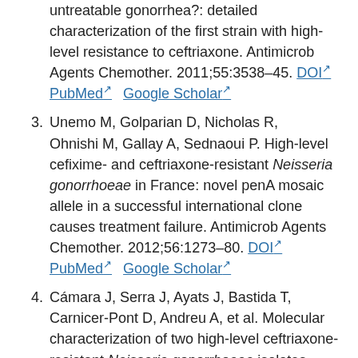untreatable gonorrhea?: detailed characterization of the first strain with high-level resistance to ceftriaxone. Antimicrob Agents Chemother. 2011;55:3538–45. DOI PubMed Google Scholar
3. Unemo M, Golparian D, Nicholas R, Ohnishi M, Gallay A, Sednaoui P. High-level cefixime- and ceftriaxone-resistant Neisseria gonorrhoeae in France: novel penA mosaic allele in a successful international clone causes treatment failure. Antimicrob Agents Chemother. 2012;56:1273–80. DOI PubMed Google Scholar
4. Cámara J, Serra J, Ayats J, Bastida T, Carnicer-Pont D, Andreu A, et al. Molecular characterization of two high-level ceftriaxone-resistant Neisseria gonorrhoeae isolates detected in Catalonia, Spain. J Antimicrob Chemother. 2012;67:1858–60. DOI